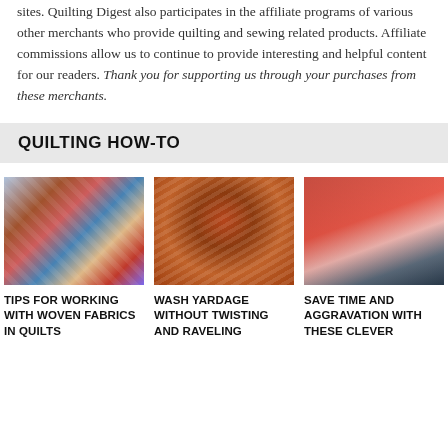sites. Quilting Digest also participates in the affiliate programs of various other merchants who provide quilting and sewing related products. Affiliate commissions allow us to continue to provide interesting and helpful content for our readers. Thank you for supporting us through your purchases from these merchants.
QUILTING HOW-TO
[Figure (photo): Close-up photo of stacked colorful woven fabric swatches in blue, red, plaid patterns]
[Figure (photo): Photo of rust/orange textured woven fabric bunched together on a white surface]
[Figure (photo): Photo of a foot wearing a red/pink athletic sneaker on a gray surface]
TIPS FOR WORKING WITH WOVEN FABRICS IN QUILTS
WASH YARDAGE WITHOUT TWISTING AND RAVELING
SAVE TIME AND AGGRAVATION WITH THESE CLEVER